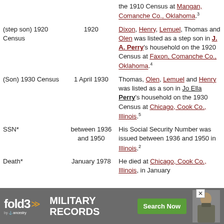| Event | Date | Description |
| --- | --- | --- |
|  |  | the 1910 Census at Mangan, Comanche Co., Oklahoma.3 |
| (step son) 1920 Census | 1920 | Dixon, Henry, Lemuel, Thomas and Olen was listed as a step son in J. A. Perry's household on the 1920 Census at Faxon, Comanche Co., Oklahoma.4 |
| (Son) 1930 Census | 1 April 1930 | Thomas, Olen, Lemuel and Henry was listed as a son in Jo Ella Perry's household on the 1930 Census at Chicago, Cook Co., Illinois.5 |
| SSN* | between 1936 and 1950 | His Social Security Number was issued between 1936 and 1950 in Illinois.2 |
| Death* | January 1978 | He died at Chicago, Cook Co., Illinois, in January |
[Figure (infographic): fold3 by Ancestry advertisement banner for Military Records with Search Now button and soldier photo]